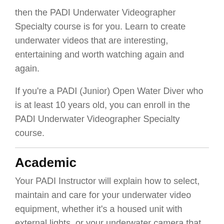then the PADI Underwater Videographer Specialty course is for you. Learn to create underwater videos that are interesting, entertaining and worth watching again and again.
If you're a PADI (Junior) Open Water Diver who is at least 10 years old, you can enroll in the PADI Underwater Videographer Specialty course.
Academic
Your PADI Instructor will explain how to select, maintain and care for your underwater video equipment, whether it's a housed unit with external lights, or your underwater camera that also shoots video. You'll cover fundamentals